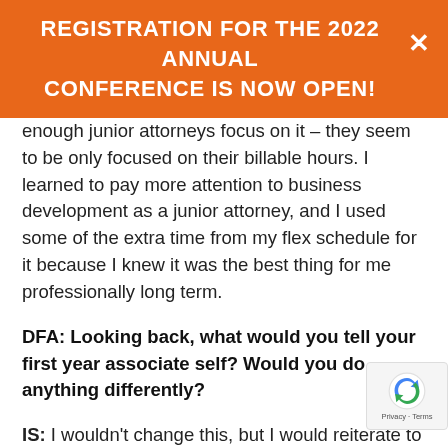REGISTRATION FOR THE 2022 ANNUAL CONFERENCE IS NOW OPEN!
enough junior attorneys focus on it – they seem to be only focused on their billable hours. I learned to pay more attention to business development as a junior attorney, and I used some of the extra time from my flex schedule for it because I knew it was the best thing for me professionally long term.
DFA: Looking back, what would you tell your first year associate self? Would you do anything differently?
IS: I wouldn't change this, but I would reiterate to younger attorneys to focus on developing a business development acumen early in their careers. As the Chair of the firm's Diversity &